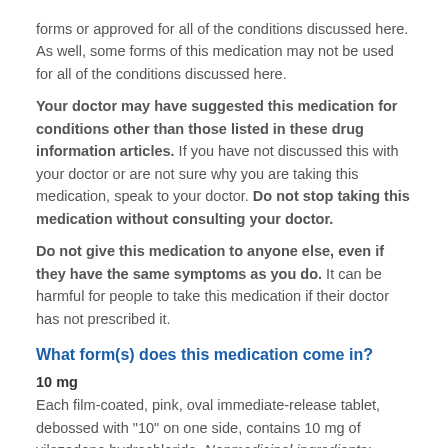forms or approved for all of the conditions discussed here. As well, some forms of this medication may not be used for all of the conditions discussed here.
Your doctor may have suggested this medication for conditions other than those listed in these drug information articles. If you have not discussed this with your doctor or are not sure why you are taking this medication, speak to your doctor. Do not stop taking this medication without consulting your doctor.
Do not give this medication to anyone else, even if they have the same symptoms as you do. It can be harmful for people to take this medication if their doctor has not prescribed it.
What form(s) does this medication come in?
10 mg
Each film-coated, pink, oval immediate-release tablet, debossed with "10" on one side, contains 10 mg of vilazodone hydrochloride. Nonmedicinal ingredients: colloidal silicon